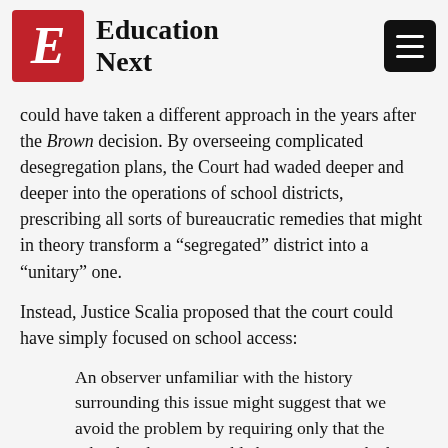Education Next
could have taken a different approach in the years after the Brown decision. By overseeing complicated desegregation plans, the Court had waded deeper and deeper into the operations of school districts, prescribing all sorts of bureaucratic remedies that might in theory transform a “segregated” district into a “unitary” one.
Instead, Justice Scalia proposed that the court could have simply focused on school access:
An observer unfamiliar with the history surrounding this issue might suggest that we avoid the problem by requiring only that the school authorities establish a regime in which parents are free to disregard neighborhood-school assignment, and to send their children to any school they wish.